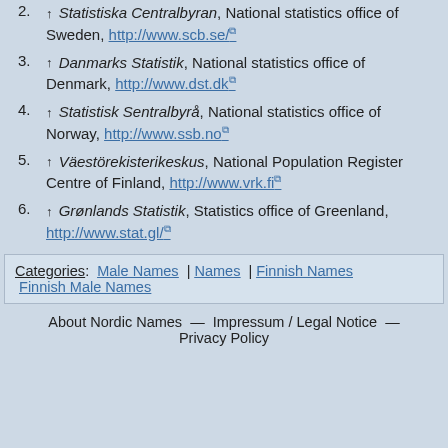2. ↑ Statistiska Centralbyran, National statistics office of Sweden, http://www.scb.se/
3. ↑ Danmarks Statistik, National statistics office of Denmark, http://www.dst.dk
4. ↑ Statistisk Sentralbyrå, National statistics office of Norway, http://www.ssb.no
5. ↑ Väestörekisterikeskus, National Population Register Centre of Finland, http://www.vrk.fi
6. ↑ Grønlands Statistik, Statistics office of Greenland, http://www.stat.gl/
Categories: Male Names | Names | Finnish Names | Finnish Male Names
About Nordic Names — Impressum / Legal Notice — Privacy Policy